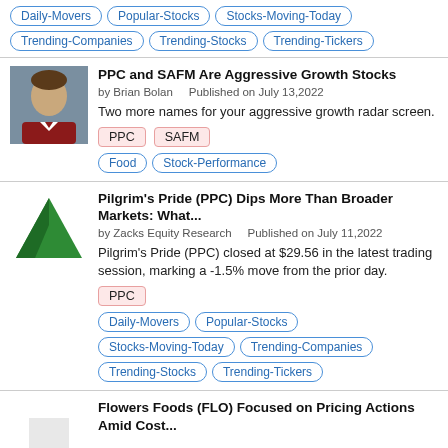Daily-Movers  Popular-Stocks  Stocks-Moving-Today  Trending-Companies  Trending-Stocks  Trending-Tickers
PPC and SAFM Are Aggressive Growth Stocks
by Brian Bolan    Published on July 13,2022
Two more names for your aggressive growth radar screen.
PPC  SAFM
Food  Stock-Performance
Pilgrim's Pride (PPC) Dips More Than Broader Markets: What...
by Zacks Equity Research    Published on July 11,2022
Pilgrim's Pride (PPC) closed at $29.56 in the latest trading session, marking a -1.5% move from the prior day.
PPC
Daily-Movers  Popular-Stocks  Stocks-Moving-Today  Trending-Companies  Trending-Stocks  Trending-Tickers
Flowers Foods (FLO) Focused on Pricing Actions Amid Cost...